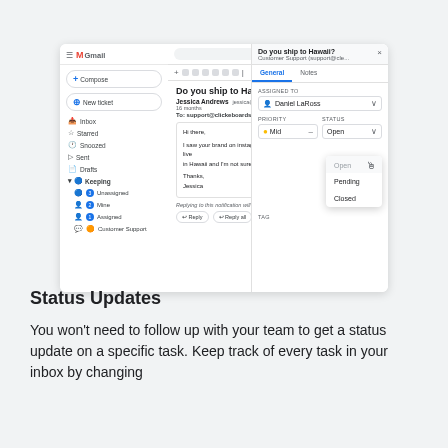[Figure (screenshot): Gmail interface screenshot showing an email 'Do you ship to Hawaii?' with a right-side panel open for ticket management. The panel shows a status dropdown with options: Open, Pending, Closed. There is a cursor hovering over the dropdown.]
Status Updates
You won't need to follow up with your team to get a status update on a specific task. Keep track of every task in your inbox by changing the status from Open to Pending or Closed.